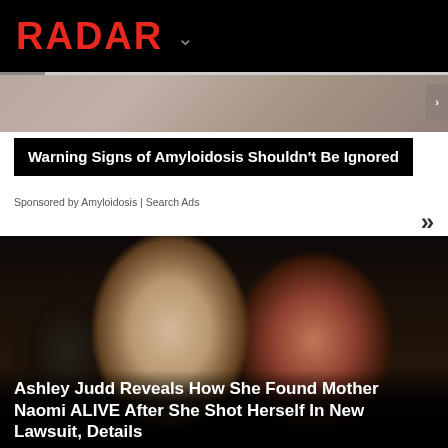RADAR
[Figure (photo): Advertisement image strip for Amyloidosis article]
Warning Signs of Amyloidosis Shouldn't Be Ignored
Sponsored by Amyloidosis | Search Ads
[Figure (photo): Photo of Ashley Judd and Naomi Judd smiling together at an event]
Ashley Judd Reveals How She Found Mother Naomi ALIVE After She Shot Herself In New Lawsuit, Details